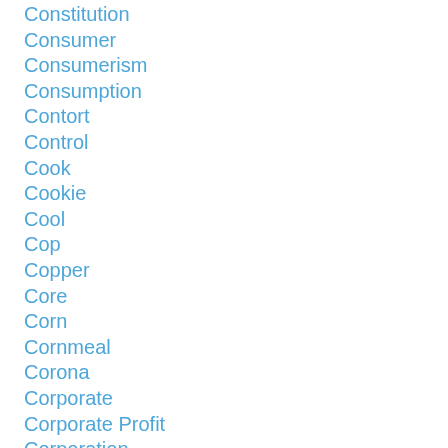Constitution
Consumer
Consumerism
Consumption
Contort
Control
Cook
Cookie
Cool
Cop
Copper
Core
Corn
Cornmeal
Corona
Corporate
Corporate Profit
Corporation
Corporatocracy
Corpse
Corrupt